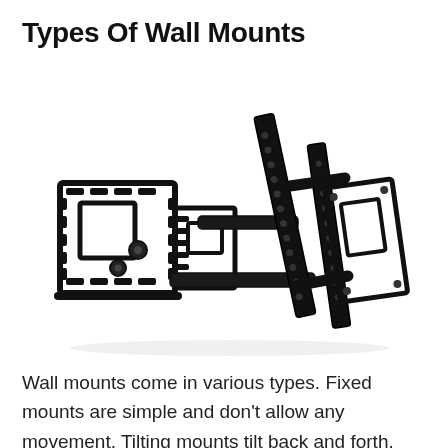Types Of Wall Mounts
[Figure (photo): A black articulating full-motion TV wall mount bracket with dual arms, showing the wall plate with VESA mounting holes on the left and the tilting bracket rails on the right, displayed at an angle against a white background.]
Wall mounts come in various types. Fixed mounts are simple and don't allow any movement. Tilting mounts tilt back and forth.